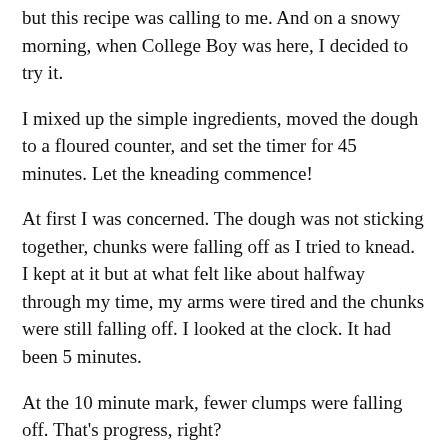but this recipe was calling to me. And on a snowy morning, when College Boy was here, I decided to try it.
I mixed up the simple ingredients, moved the dough to a floured counter, and set the timer for 45 minutes. Let the kneading commence!
At first I was concerned. The dough was not sticking together, chunks were falling off as I tried to knead. I kept at it but at what felt like about halfway through my time, my arms were tired and the chunks were still falling off. I looked at the clock. It had been 5 minutes.
At the 10 minute mark, fewer clumps were falling off. That's progress, right?
At the 15 minute mark (yes, I was looking at the clock that often), my shoulders started to burn.
At the 20 minute mark, Hubs came down for coffee.